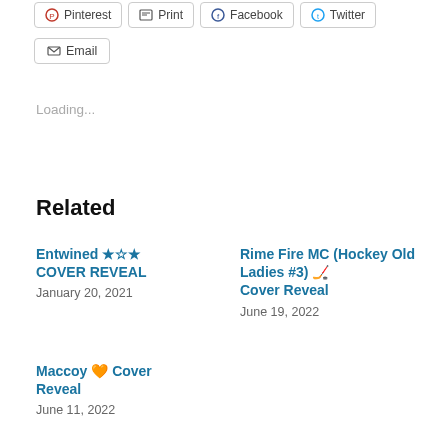Pinterest  Print  Facebook  Twitter
Email
Loading...
Related
Entwined ★☆★ COVER REVEAL
January 20, 2021
Rime Fire MC (Hockey Old Ladies #3) 🏒 Cover Reveal
June 19, 2022
Maccoy 🧡 Cover Reveal
June 11, 2022